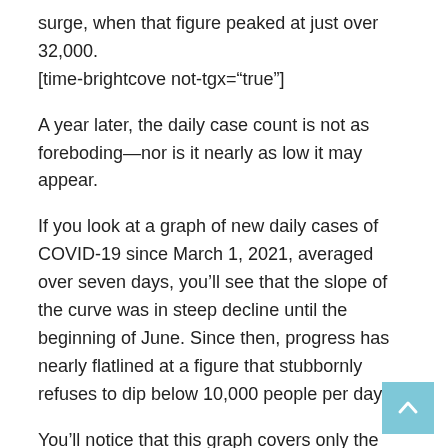surge, when that figure peaked at just over 32,000.
[time-brightcove not-tgx="true"]
A year later, the daily case count is not as foreboding—nor is it nearly as low it may appear.
If you look at a graph of new daily cases of COVID-19 since March 1, 2021, averaged over seven days, you'll see that the slope of the curve was in steep decline until the beginning of June. Since then, progress has nearly flatlined at a figure that stubbornly refuses to dip below 10,000 people per day.
You'll notice that this graph covers only the past